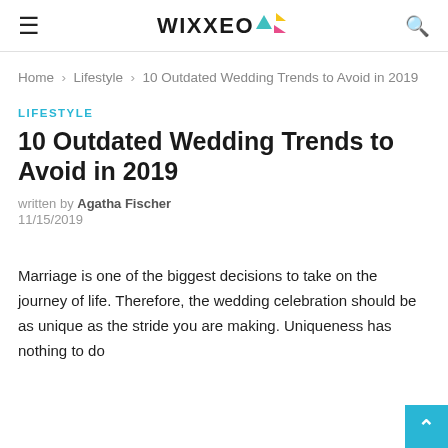≡  WIXXEO  🔍
Home > Lifestyle > 10 Outdated Wedding Trends to Avoid in 2019
LIFESTYLE
10 Outdated Wedding Trends to Avoid in 2019
written by Agatha Fischer
11/15/2019
Marriage is one of the biggest decisions to take on the journey of life. Therefore, the wedding celebration should be as unique as the stride you are making. Uniqueness has nothing to do